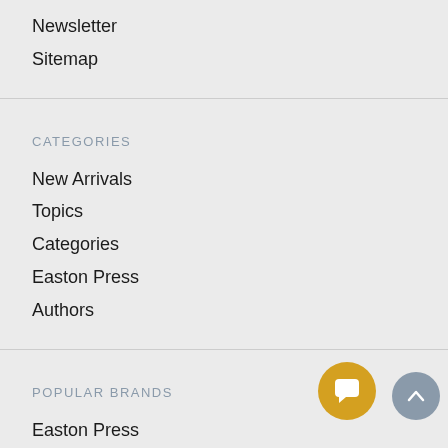Newsletter
Sitemap
CATEGORIES
New Arrivals
Topics
Categories
Easton Press
Authors
POPULAR BRANDS
Easton Press